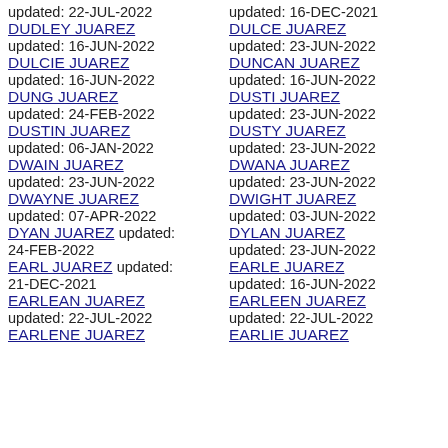updated: 22-JUL-2022
DUDLEY JUAREZ
updated: 16-JUN-2022
updated: 16-DEC-2021
DULCE JUAREZ
updated: 23-JUN-2022
DULCIE JUAREZ
updated: 16-JUN-2022
DUNCAN JUAREZ
updated: 16-JUN-2022
DUNG JUAREZ
updated: 24-FEB-2022
DUSTI JUAREZ
updated: 23-JUN-2022
DUSTIN JUAREZ
updated: 06-JAN-2022
DUSTY JUAREZ
updated: 23-JUN-2022
DWAIN JUAREZ
updated: 23-JUN-2022
DWANA JUAREZ
updated: 23-JUN-2022
DWAYNE JUAREZ
updated: 07-APR-2022
DWIGHT JUAREZ
updated: 03-JUN-2022
DYAN JUAREZ updated: 24-FEB-2022
DYLAN JUAREZ
updated: 23-JUN-2022
EARL JUAREZ updated: 21-DEC-2021
EARLE JUAREZ
updated: 16-JUN-2022
EARLEAN JUAREZ
updated: 22-JUL-2022
EARLEEN JUAREZ
updated: 22-JUL-2022
EARLENE JUAREZ
EARLIE JUAREZ